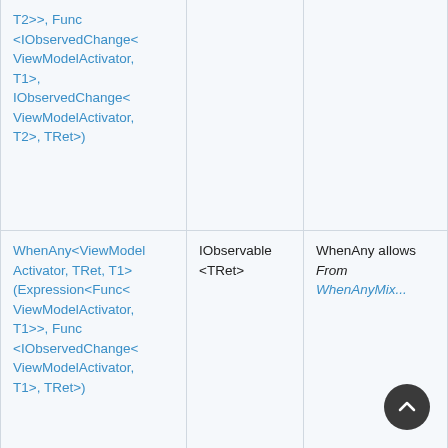| Method | Return Type | Description |
| --- | --- | --- |
| T2>>, Func <IObservedChange< ViewModelActivator, T1>, IObservedChange< ViewModelActivator, T2>, TRet>) |  |  |
| WhenAny<ViewModelActivator, TRet, T1>(Expression<Func< ViewModelActivator, T1>>, Func <IObservedChange< ViewModelActivator, T1>, TRet>) | IObservable <TRet> | WhenAny allows
From WhenAnyMix... |
| WhenAnyDynamic< ViewModelActivator, TRet>(Expression?, | IObservable <TRet> | WhenAny allows
From WhenAnyMix... |